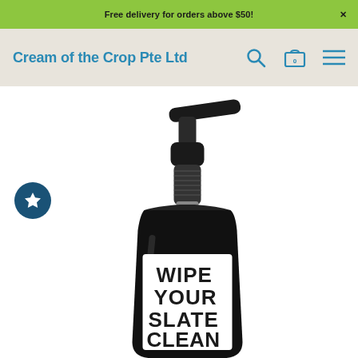Free delivery for orders above $50!
Cream of the Crop Pte Ltd
[Figure (photo): Black pump dispenser bottle with white label reading 'WIPE YOUR SLATE CLEAN' in hand-drawn font, with a star/wishlist button on the left side]